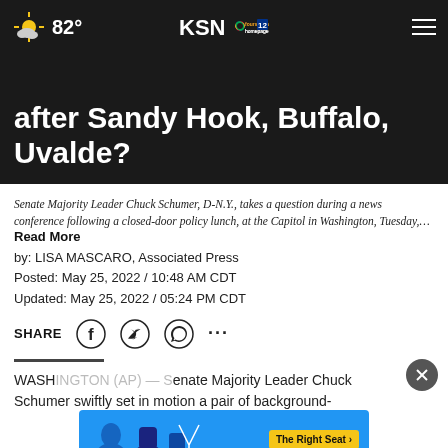82° KSN fourstates homepage.com 12
after Sandy Hook, Buffalo, Uvalde?
Senate Majority Leader Chuck Schumer, D-N.Y., takes a question during a news conference following a closed-door policy lunch, at the Capitol in Washington, Tuesday,… Read More
by: LISA MASCARO, Associated Press
Posted: May 25, 2022 / 10:48 AM CDT
Updated: May 25, 2022 / 05:24 PM CDT
SHARE
WASH... Chuck Schumer swiftly set in motion a pair of background-